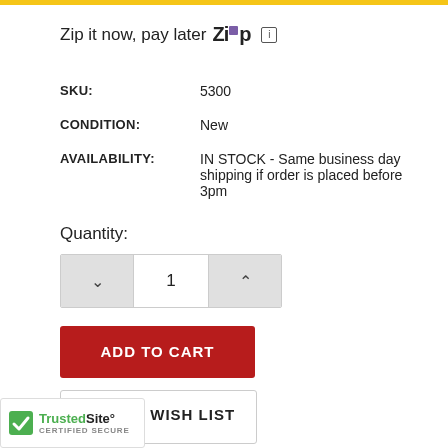Zip it now, pay later  [ZIP logo]  [info]
| SKU: | 5300 |
| CONDITION: | New |
| AVAILABILITY: | IN STOCK - Same business day shipping if order is placed before 3pm |
Quantity:
[Figure (other): Quantity stepper control showing down arrow, value 1, up arrow]
ADD TO CART
ADD TO WISH LIST
[Figure (logo): TrustedSite CERTIFIED SECURE badge with green checkmark]